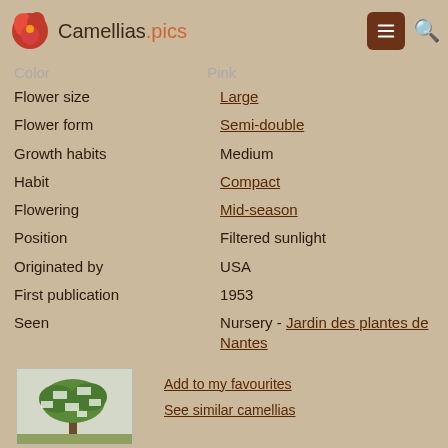Camellias.pics
| Property | Value |
| --- | --- |
| Color | Pink |
| Flower size | Large |
| Flower form | Semi-double |
| Growth habits | Medium |
| Habit | Compact |
| Flowering | Mid-season |
| Position | Filtered sunlight |
| Originated by | USA |
| First publication | 1953 |
| Seen | Nursery - Jardin des plantes de Nantes |
[Figure (photo): Small thumbnail photo of a camellia tree/genealogy diagram]
See the genealogy
Add to my favourites
See similar camellias
Rosemary Kinzer Variegated